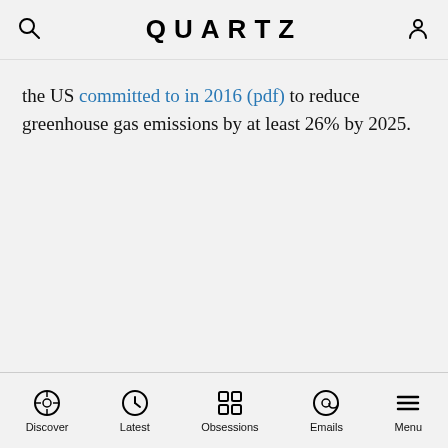QUARTZ
(p.) … the US committed to in 2016 (pdf) to reduce greenhouse gas emissions by at least 26% by 2025.
Discover | Latest | Obsessions | Emails | Menu